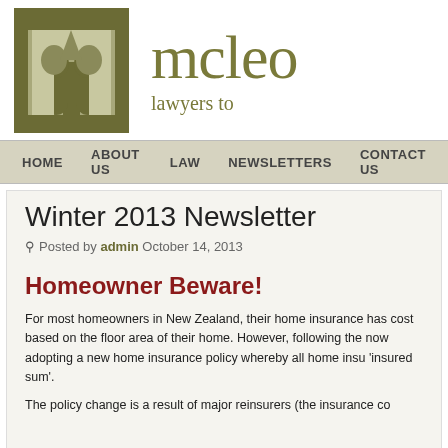[Figure (logo): McLeod Lawyers logo: olive/khaki square with stylized M letterform in lighter beige, followed by the text 'mcleo' (truncated) and 'lawyers to' (truncated) in olive color]
HOME   ABOUT US   LAW   NEWSLETTERS   CONTACT US
Winter 2013 Newsletter
Posted by admin October 14, 2013
Homeowner Beware!
For most homeowners in New Zealand, their home insurance has cost based on the floor area of their home. However, following the now adopting a new home insurance policy whereby all home insu 'insured sum'.
The policy change is a result of major reinsurers (the insurance co